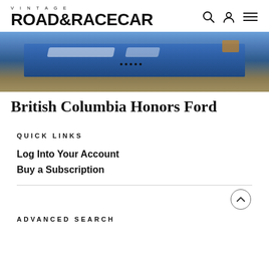VINTAGE ROAD & RACECAR
[Figure (photo): Cropped photo of the front of a blue sports/race car, showing the hood and windshield area against a sandy/brown background]
British Columbia Honors Ford
Quick Links
Log Into Your Account
Buy a Subscription
Advanced Search